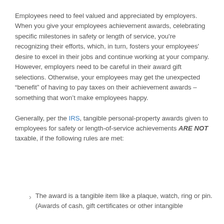Employees need to feel valued and appreciated by employers. When you give your employees achievement awards, celebrating specific milestones in safety or length of service, you're recognizing their efforts, which, in turn, fosters your employees' desire to excel in their jobs and continue working at your company. However, employers need to be careful in their award gift selections. Otherwise, your employees may get the unexpected “benefit” of having to pay taxes on their achievement awards – something that won’t make employees happy.

Generally, per the IRS, tangible personal-property awards given to employees for safety or length-of-service achievements ARE NOT taxable, if the following rules are met:
The award is a tangible item like a plaque, watch, ring or pin. (Awards of cash, gift certificates or other intangible